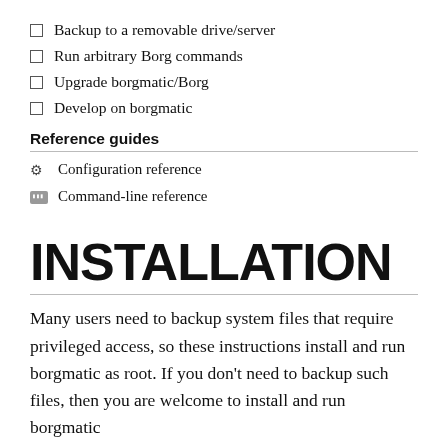Backup to a removable drive/server
Run arbitrary Borg commands
Upgrade borgmatic/Borg
Develop on borgmatic
Reference guides
Configuration reference
Command-line reference
INSTALLATION
Many users need to backup system files that require privileged access, so these instructions install and run borgmatic as root. If you don't need to backup such files, then you are welcome to install and run borgmatic